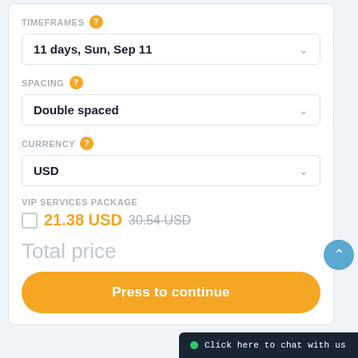TIMEFRAMES
11 days, Sun, Sep 11
SPACING
Double spaced
CURRENCY
USD
VIP SERVICES PACKAGE
21.38 USD  30.54 USD
Total price
Press to continue
Click here to chat with us